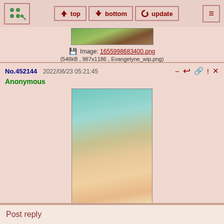top | bottom | update
[Figure (illustration): Partial image at top, cropped character illustration]
Image: 1655998683400.png (548kB , 987x1186 , Evangelyne_wip.png)
No.452144  2022/06/23 05:21:45
Anonymous
[Figure (illustration): Anime-style character with blonde hair, green top, from behind]
Image: 1655998690570.png (896kB , 1443x2000 , Cleophee_.png)
No.452145  2022/06/23 05:22:33
Anonymous
[Figure (illustration): Anime-style character with green hair and plant motifs]
Post reply